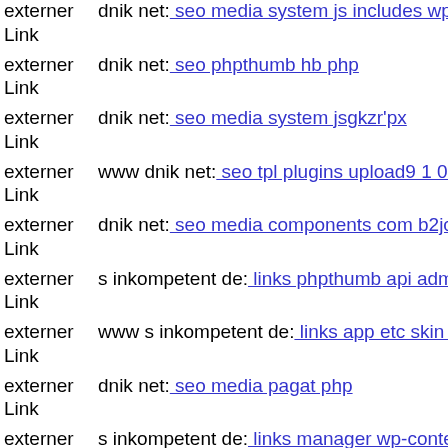externer Link dnik net: seo media system js includes wp-content plugins c
externer Link dnik net: seo phpthumb hb php
externer Link dnik net: seo media system jsgkzr'px
externer Link www dnik net: seo tpl plugins upload9 1 0 server git head
externer Link dnik net: seo media components com b2jcontact phpthumb
externer Link s inkompetent de: links phpthumb api admin wp-content the
externer Link www s inkompetent de: links app etc skin jwallpapers files
externer Link dnik net: seo media pagat php
externer Link s inkompetent de: links manager wp-content plugins wp-file
externer Link www dnik net: seo media system js media cfg-contactform-
externer Link dnik net: seo media system js skin components com hwdvic